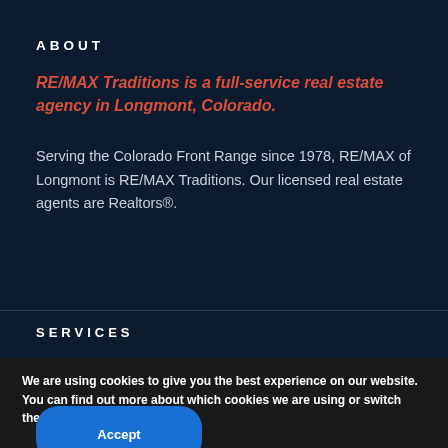ABOUT
RE/MAX Traditions is a full-service real estate agency in Longmont, Colorado.
Serving the Colorado Front Range since 1978, RE/MAX of Longmont is RE/MAX Traditions. Our licensed real estate agents are Realtors®.
SERVICES
We are using cookies to give you the best experience on our website.
You can find out more about which cookies we are using or switch them off in settings.
Accept